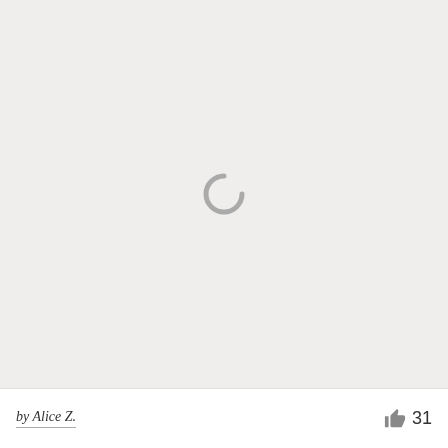[Figure (illustration): Loading spinner icon centered on a light gray background, indicating an image or content is loading.]
by Alice Z.
31